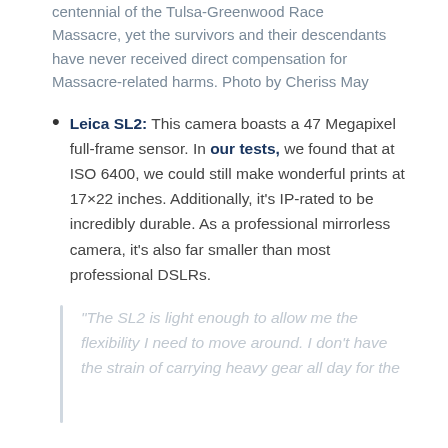centennial of the Tulsa-Greenwood Race Massacre, yet the survivors and their descendants have never received direct compensation for Massacre-related harms. Photo by Cheriss May
Leica SL2: This camera boasts a 47 Megapixel full-frame sensor. In our tests, we found that at ISO 6400, we could still make wonderful prints at 17×22 inches. Additionally, it's IP-rated to be incredibly durable. As a professional mirrorless camera, it's also far smaller than most professional DSLRs.
"The SL2 is light enough to allow me the flexibility I need to move around. I don't have the strain of carrying heavy gear all day for the